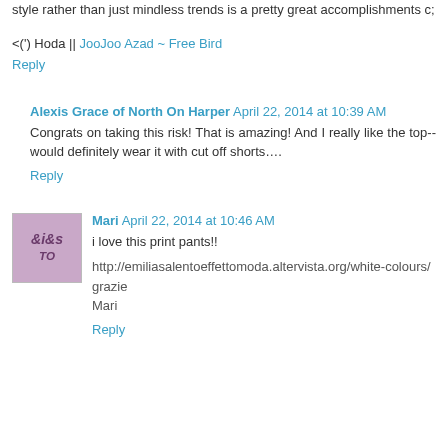style rather than just mindless trends is a pretty great accomplishments c;
<(') Hoda || JooJoo Azad ~ Free Bird
Reply
Alexis Grace of North On Harper  April 22, 2014 at 10:39 AM
Congrats on taking this risk! That is amazing! And I really like the top-- would definitely wear it with cut off shorts….
Reply
Mari  April 22, 2014 at 10:46 AM
i love this print pants!!
http://emiliasalentoeffettomoda.altervista.org/white-colours/
grazie
Mari
Reply